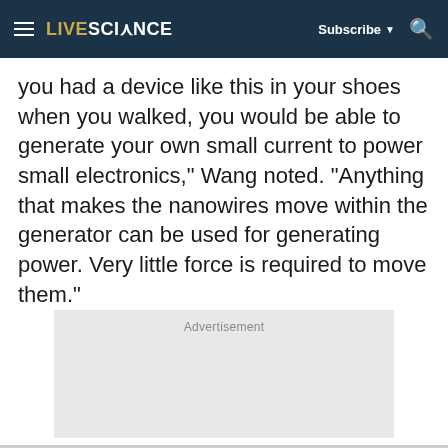LIVESCIENCE | Subscribe | Search
you had a device like this in your shoes when you walked, you would be able to generate your own small current to power small electronics," Wang noted. "Anything that makes the nanowires move within the generator can be used for generating power. Very little force is required to move them."
[Figure (other): Advertisement placeholder box with light gray background]